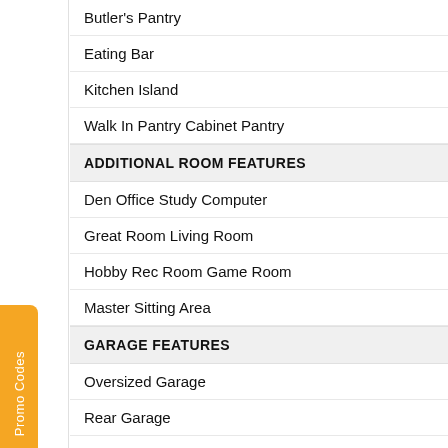Butler's Pantry
Eating Bar
Kitchen Island
Walk In Pantry Cabinet Pantry
ADDITIONAL ROOM FEATURES
Den Office Study Computer
Great Room Living Room
Hobby Rec Room Game Room
Master Sitting Area
GARAGE FEATURES
Oversized Garage
Rear Garage
Side Entry Garage
ENTRYWAY
Friend S Entry